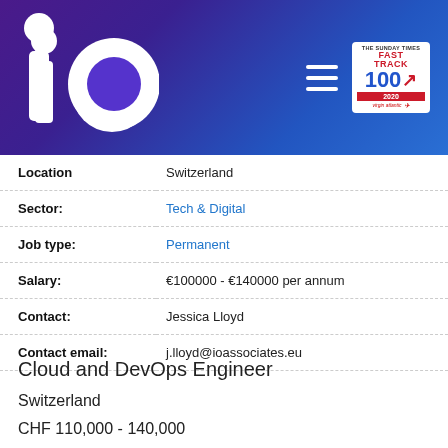[Figure (logo): iO Associates company logo and navigation header with Fast Track 100 badge on purple-to-blue gradient background]
| Location | Switzerland |
| Sector: | Tech & Digital |
| Job type: | Permanent |
| Salary: | €100000 - €140000 per annum |
| Contact: | Jessica Lloyd |
| Contact email: | j.lloyd@ioassociates.eu |
Cloud and DevOps Engineer
Switzerland
CHF 110,000 - 140,000